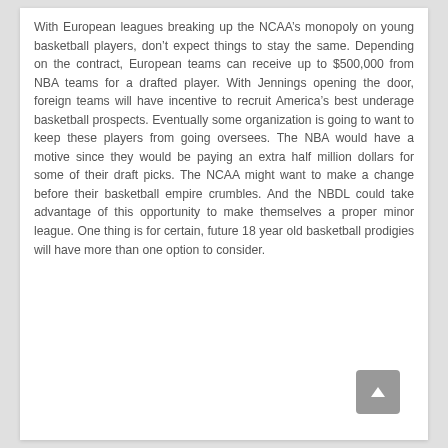With European leagues breaking up the NCAA's monopoly on young basketball players, don't expect things to stay the same. Depending on the contract, European teams can receive up to $500,000 from NBA teams for a drafted player. With Jennings opening the door, foreign teams will have incentive to recruit America's best underage basketball prospects. Eventually some organization is going to want to keep these players from going oversees. The NBA would have a motive since they would be paying an extra half million dollars for some of their draft picks. The NCAA might want to make a change before their basketball empire crumbles. And the NBDL could take advantage of this opportunity to make themselves a proper minor league. One thing is for certain, future 18 year old basketball prodigies will have more than one option to consider.